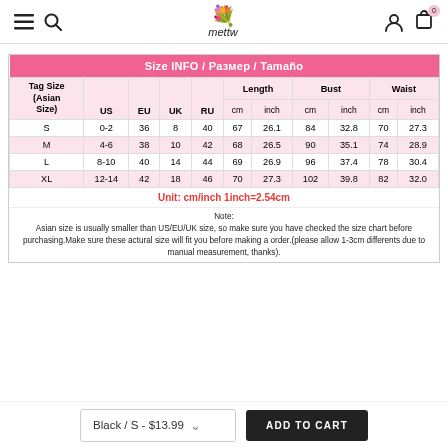mettu — navigation header with hamburger, search, logo, account, cart (0)
| Tag Size (Asian Size) | US | EU | UK | RU | Length cm | Length inch | Bust cm | Bust inch | Waist cm | Waist inch |
| --- | --- | --- | --- | --- | --- | --- | --- | --- | --- | --- |
| S | 0-2 | 36 | 8 | 40 | 67 | 26.1 | 84 | 32.8 | 70 | 27.3 |
| M | 4-6 | 38 | 10 | 42 | 68 | 26.5 | 90 | 35.1 | 74 | 28.9 |
| L | 8-10 | 40 | 14 | 44 | 69 | 26.9 | 96 | 37.4 | 78 | 30.4 |
| XL | 12-14 | 42 | 18 | 46 | 70 | 27.3 | 102 | 39.8 | 82 | 32.0 |
Unit: cm/inch 1inch=2.54cm
Note: Asian size is usually smaller than US/EU/UK size, so make sure you have checked the size chart before purchasing.Make sure these actural size will fit you before making a order.(please allow 1-3cm differents due to manual measurement, thanks).
Black / S - $13.99  ADD TO CART